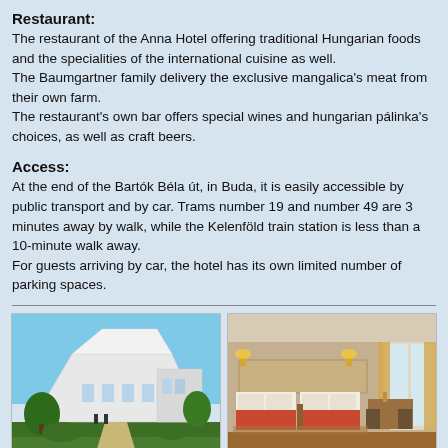Restaurant:
The restaurant of the Anna Hotel offering traditional Hungarian foods and the specialities of the international cuisine as well.
The Baumgartner family delivery the exclusive mangalica's meat from their own farm.
The restaurant's own bar offers special wines and hungarian pálinka's choices, as well as craft beers.
Access:
At the end of the Bartók Béla út, in Buda, it is easily accessible by public transport and by car. Trams number 19 and number 49 are 3 minutes away by walk, while the Kelenföld train station is less than a 10-minute walk away.
For guests arriving by car, the hotel has its own limited number of parking spaces.
[Figure (photo): Exterior view of the Anna Hotel building - a modern white angular architecture against a blue sky with green trees.]
[Figure (photo): Interior hotel room with twin beds, orange/red bedding, warm lighting from wall lamps, desk and chairs near window with curtains.]
[Figure (photo): Partial view of another interior area of the hotel - ceiling and upper portion visible.]